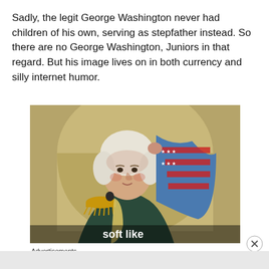Sadly, the legit George Washington never had children of his own, serving as stepfather instead. So there are no George Washington, Juniors in that regard. But his image lives on in both currency and silly internet humor.
[Figure (illustration): Vintage illustration of George Washington in military uniform with gold epaulettes, holding an American flag with stars and stripes, set against an olive/gold background. Text overlay at bottom reads 'soft like'.]
Advertisements